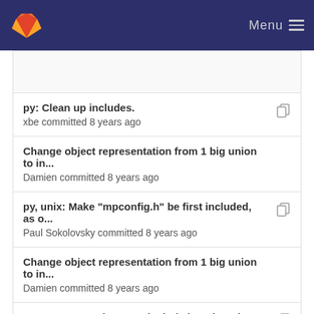GitLab  Menu
py: Clean up includes.
xbe committed 8 years ago
Change object representation from 1 big union to in...
Damien committed 8 years ago
py, unix: Make "mpconfig.h" be first included, as o...
Paul Sokolovsky committed 8 years ago
Change object representation from 1 big union to in...
Damien committed 8 years ago
Revamp qstrs: they now include length and hash.
Damien George committed 8 years ago
Change object representation from 1 big union to in...
Damien committed 8 years ago